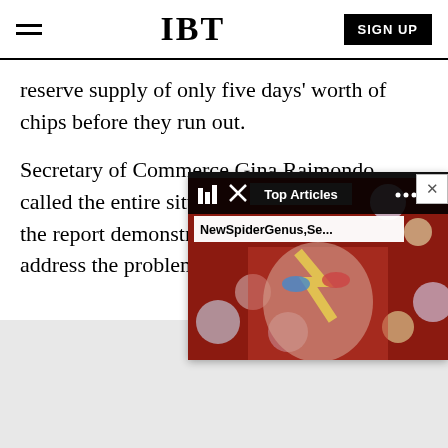IBT | SIGN UP
reserve supply of only five days' worth of chips before they run out.
Secretary of Commerce Gina Raimondo called the entire situation “alarming,” but said the report demonstrated the urgency needed to address the problem.
[Figure (screenshot): A popup widget showing 'Top Articles' with a thumbnail image of a face with dramatic makeup and colorful circles, and subtitle text 'NewSpiderGenus,Se...' A close button (X) appears at top right.]